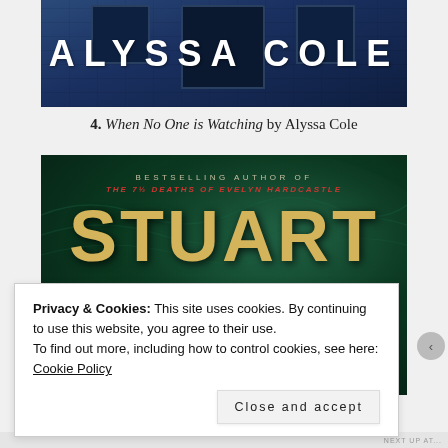[Figure (illustration): Book cover of a novel by Alyssa Cole, showing a dark blue urban building facade with large white bold text 'ALYSSA COLE']
4. When No One is Watching by Alyssa Cole
[Figure (illustration): Book cover by Stuart Turton, dark teal/green swirling background, text reads 'Bestselling Author of THE 7½ DEATHS OF EVELYN HARDCASTLE' and large gold letters 'STUART' with bottom partially cut off]
Privacy & Cookies: This site uses cookies. By continuing to use this website, you agree to their use.
To find out more, including how to control cookies, see here: Cookie Policy
Close and accept